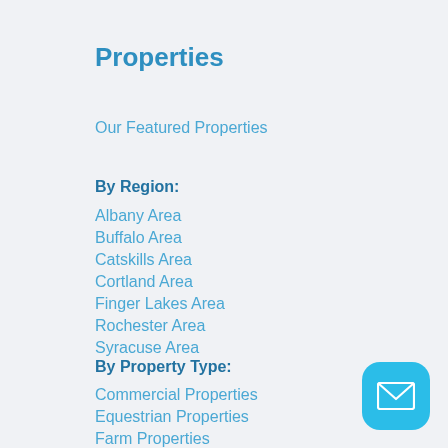Properties
Our Featured Properties
By Region:
Albany Area
Buffalo Area
Catskills Area
Cortland Area
Finger Lakes Area
Rochester Area
Syracuse Area
By Property Type:
Commercial Properties
Equestrian Properties
Farm Properties
[Figure (illustration): Blue rounded square button with white envelope/mail icon in bottom-right corner]